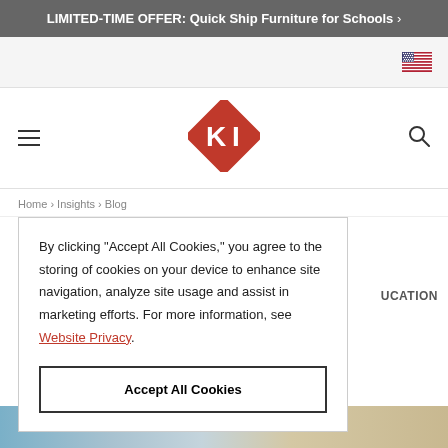LIMITED-TIME OFFER: Quick Ship Furniture for Schools >
[Figure (logo): US flag icon in top right of navigation bar]
[Figure (logo): KI logo — red diamond shape with white K and I letters]
Home > Insights > Blog
By clicking "Accept All Cookies," you agree to the storing of cookies on your device to enhance site navigation, analyze site usage and assist in marketing efforts. For more information, see Website Privacy.
Accept All Cookies
UCATION